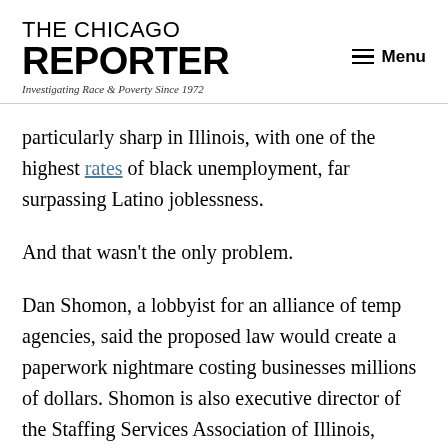THE CHICAGO REPORTER — Investigating Race & Poverty Since 1972
particularly sharp in Illinois, with one of the highest rates of black unemployment, far surpassing Latino joblessness.
And that wasn't the only problem.
Dan Shomon, a lobbyist for an alliance of temp agencies, said the proposed law would create a paperwork nightmare costing businesses millions of dollars. Shomon is also executive director of the Staffing Services Association of Illinois, which he said represents 25 agencies that provide 250,000 jobs a year.